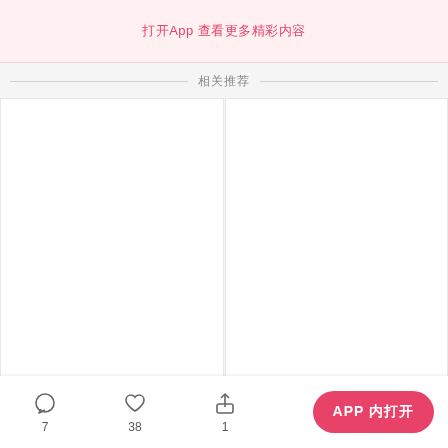打开App 查看更多精彩内容
相关推荐
[Figure (other): Two blank white image placeholder panels side by side]
7
38
1
APP 内打开